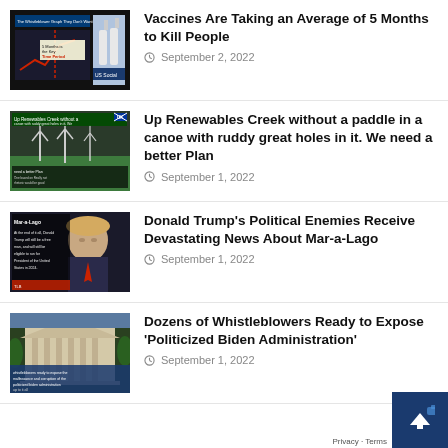[Figure (screenshot): Thumbnail image for vaccine article showing a graph and vaccine vials]
Vaccines Are Taking an Average of 5 Months to Kill People
September 2, 2022
[Figure (screenshot): Thumbnail image for renewables article showing wind turbines]
Up Renewables Creek without a paddle in a canoe with ruddy great holes in it. We need a better Plan
September 1, 2022
[Figure (photo): Thumbnail image of Donald Trump with Mar-a-Lago text overlay]
Donald Trump's Political Enemies Receive Devastating News About Mar-a-Lago
September 1, 2022
[Figure (photo): Thumbnail image of a government building with text about whistleblowers]
Dozens of Whistleblowers Ready to Expose 'Politicized Biden Administration'
September 1, 2022